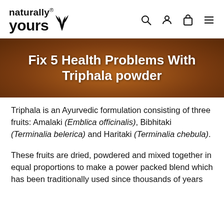naturally yours
[Figure (photo): Hero banner image with dark brown background showing a wooden bowl with powder, overlaid with bold white text reading 'Fix 5 Health Problems With Triphala powder']
Triphala is an Ayurvedic formulation consisting of three fruits: Amalaki (Emblica officinalis), Bibhitaki (Terminalia belerica) and Haritaki (Terminalia chebula).
These fruits are dried, powdered and mixed together in equal proportions to make a power packed blend which has been traditionally used since thousands of years